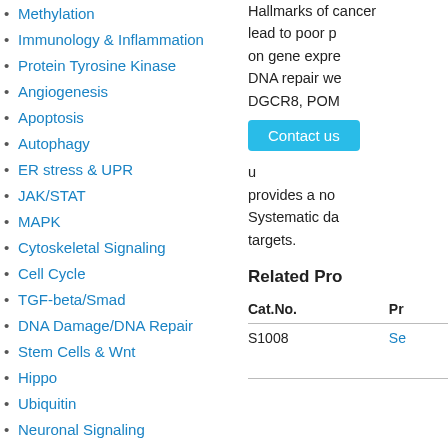Methylation
Immunology & Inflammation
Protein Tyrosine Kinase
Angiogenesis
Apoptosis
Autophagy
ER stress & UPR
JAK/STAT
MAPK
Cytoskeletal Signaling
Cell Cycle
TGF-beta/Smad
DNA Damage/DNA Repair
Stem Cells & Wnt
Hippo
Ubiquitin
Neuronal Signaling
NF-κB
GPCR & G Protein
Endocrinology & Hormones
Transmembrane Transporters
Hallmarks of cancer lead to poor p on gene expre DNA repair we DGCR8, POM provides a no Systematic da targets.
[Figure (other): Contact us button (cyan/blue rounded rectangle)]
Related Pro
| Cat.No. | Pr |
| --- | --- |
| S1008 | Se |